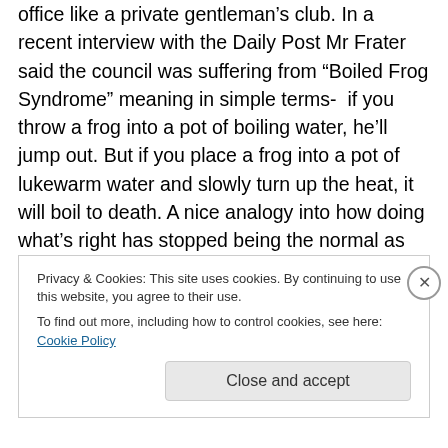office like a private gentleman's club. In a recent interview with the Daily Post Mr Frater said the council was suffering from "Boiled Frog Syndrome" meaning in simple terms-  if you throw a frog into a pot of boiling water, he'll jump out. But if you place a frog into a pot of lukewarm water and slowly turn up the heat, it will boil to death. A nice analogy into how doing what's right has stopped being the normal as staff and senior officers have become almost brainwashed  and inured to bad practice. Like some sort of mad "cult." where wrong is right and anybody who dares
Privacy & Cookies: This site uses cookies. By continuing to use this website, you agree to their use. To find out more, including how to control cookies, see here: Cookie Policy